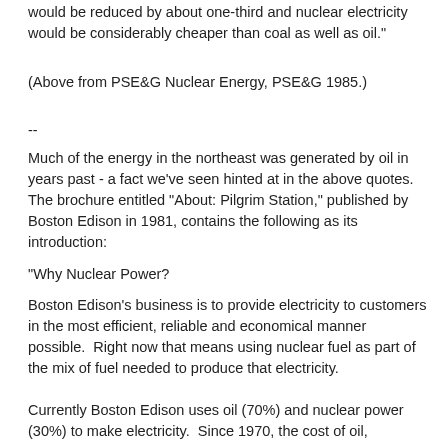would be reduced by about one-third and nuclear electricity would be considerably cheaper than coal as well as oil."
(Above from PSE&G Nuclear Energy, PSE&G 1985.)
--
Much of the energy in the northeast was generated by oil in years past - a fact we've seen hinted at in the above quotes. The brochure entitled "About: Pilgrim Station," published by Boston Edison in 1981, contains the following as its introduction:
"Why Nuclear Power?
Boston Edison's business is to provide electricity to customers in the most efficient, reliable and economical manner possible.  Right now that means using nuclear fuel as part of the mix of fuel needed to produce that electricity.
Currently Boston Edison uses oil (70%) and nuclear power (30%) to make electricity.  Since 1970, the cost of oil,